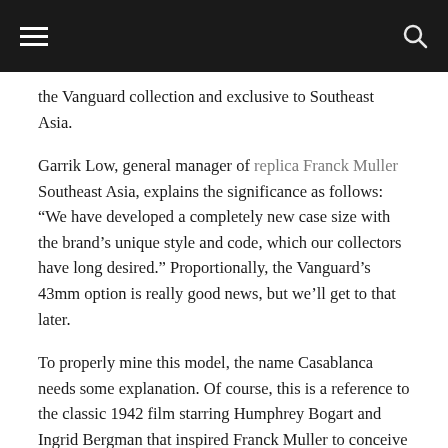Navigation bar with menu and search icons
the Vanguard collection and exclusive to Southeast Asia.
Garrik Low, general manager of replica Franck Muller Southeast Asia, explains the significance as follows: “We have developed a completely new case size with the brand’s unique style and code, which our collectors have long desired.” Proportionally, the Vanguard’s 43mm option is really good news, but we’ll get to that later.
To properly mine this model, the name Casablanca needs some explanation. Of course, this is a reference to the classic 1942 film starring Humphrey Bogart and Ingrid Bergman that inspired Franck Muller to conceive the original Cintree Curvex model complete with Art Deco figures. The original colorways of the models, such as salmon and sand, are clearly inspired by the aesthetics of the film (and also coincide with certain